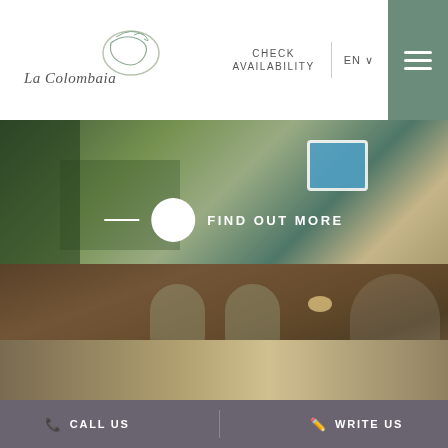[Figure (screenshot): La Colombaia hotel website header with logo, CHECK AVAILABILITY link, EN language selector, and hamburger menu on sage green background]
[Figure (photo): Aerial/overhead view of property with pool visible, overlaid with FIND OUT MORE button]
[Figure (photo): Interior restaurant photo showing stone walls, wooden tables and chairs, arched architecture with 'Restaurant' script text overlay and FIND OUT MORE button]
[Figure (photo): Bottom strip preview of outdoor/grass area]
CALL US    WRITE US